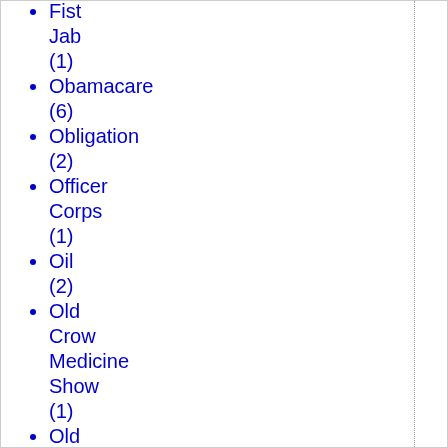Fist Jab (1)
Obamacare (6)
Obligation (2)
Officer Corps (1)
Oil (2)
Old Crow Medicine Show (1)
Old Testament genocide (1)
Omaha shooting (1)
one-child